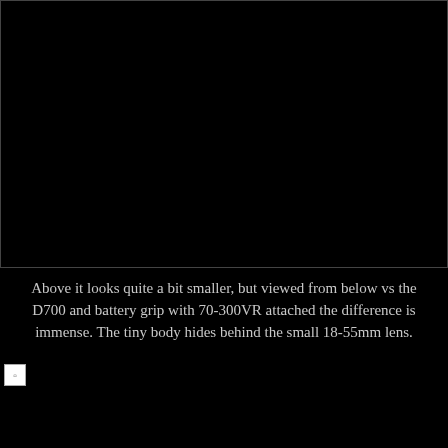[Figure (photo): Dark/black image area, appears to be a photograph that is largely black or very dark]
Above it looks quite a bit smaller, but viewed from below vs the D700 and battery grip with 70-300VR attached the difference is immense. The tiny body hides behind the small 18-55mm lens.
[Figure (photo): Second dark/black image area, partially loaded or very dark photograph]